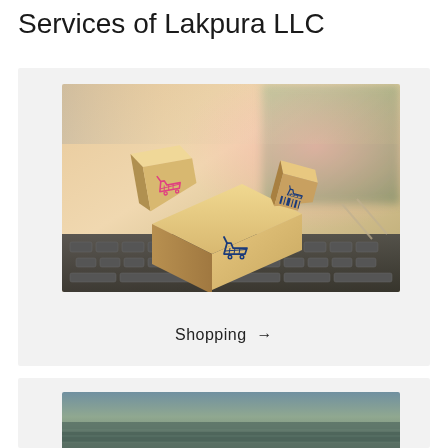Services of Lakpura LLC
[Figure (photo): Cardboard boxes with shopping cart icons sitting on a laptop keyboard, representing e-commerce / online shopping]
Shopping →
[Figure (photo): Outdoor scenic photo, partially visible at bottom of page]